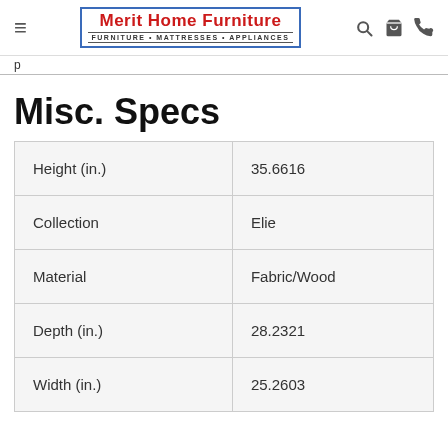Merit Home Furniture — FURNITURE • MATTRESSES • APPLIANCES
Misc. Specs
|  |  |
| --- | --- |
| Height (in.) | 35.6616 |
| Collection | Elie |
| Material | Fabric/Wood |
| Depth (in.) | 28.2321 |
| Width (in.) | 25.2603 |